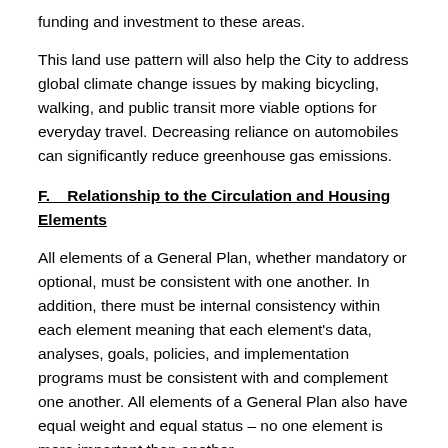funding and investment to these areas.
This land use pattern will also help the City to address global climate change issues by making bicycling, walking, and public transit more viable options for everyday travel. Decreasing reliance on automobiles can significantly reduce greenhouse gas emissions.
F.    Relationship to the Circulation and Housing Elements
All elements of a General Plan, whether mandatory or optional, must be consistent with one another. In addition, there must be internal consistency within each element meaning that each element's data, analyses, goals, policies, and implementation programs must be consistent with and complement one another. All elements of a General Plan also have equal weight and equal status – no one element is more important than another.
Although there are relationships among all of the General Plan elements, there are three elements that